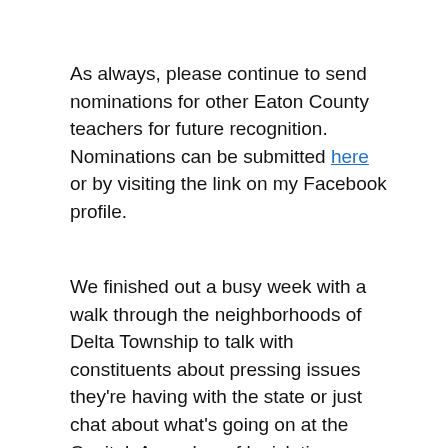As always, please continue to send nominations for other Eaton County teachers for future recognition. Nominations can be submitted here or by visiting the link on my Facebook profile.
We finished out a busy week with a walk through the neighborhoods of Delta Township to talk with constituents about pressing issues they're having with the state or just chat about what's going on at the Capitol. A number of legislative staffers and community volunteers joined us on this beautiful day. Thank you to everyone who made it out! If you'd like to join us on future constituent walks throughout Eaton County, feel free to contact my office at (517) 373-0853 or angelawitner@house.mi.gov...